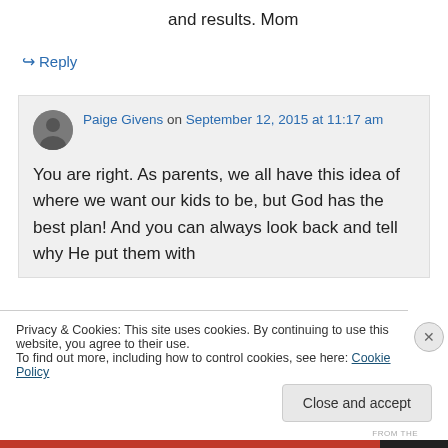and results. Mom
↪ Reply
Paige Givens on September 12, 2015 at 11:17 am
You are right. As parents, we all have this idea of where we want our kids to be, but God has the best plan! And you can always look back and tell why He put them with
Privacy & Cookies: This site uses cookies. By continuing to use this website, you agree to their use.
To find out more, including how to control cookies, see here: Cookie Policy
Close and accept